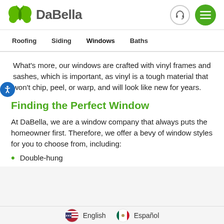[Figure (logo): DaBella logo with green butterfly wings and grey text 'DaBella']
Roofing   Siding   Windows   Baths
What's more, our windows are crafted with vinyl frames and sashes, which is important, as vinyl is a tough material that won't chip, peel, or warp, and will look like new for years.
Finding the Perfect Window
At DaBella, we are a window company that always puts the homeowner first. Therefore, we offer a bevy of window styles for you to choose from, including:
Double-hung